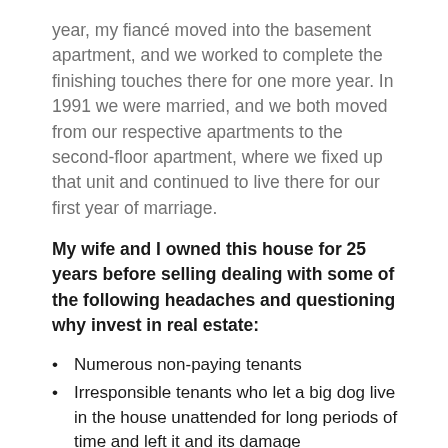year, my fiancé moved into the basement apartment, and we worked to complete the finishing touches there for one more year. In 1991 we were married, and we both moved from our respective apartments to the second-floor apartment, where we fixed up that unit and continued to live there for our first year of marriage.
My wife and I owned this house for 25 years before selling dealing with some of the following headaches and questioning why invest in real estate:
Numerous non-paying tenants
Irresponsible tenants who let a big dog live in the house unattended for long periods of time and left it and its damage